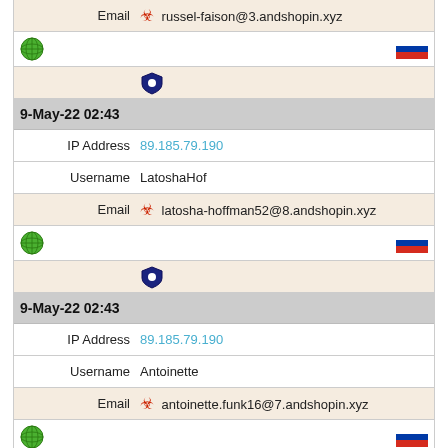| Email | russel-faison@3.andshopin.xyz |
| [globe icon] | [Russian flag] |
| [shield icon] |  |
| 9-May-22 02:43 |  |
| IP Address | 89.185.79.190 |
| Username | LatoshaHof |
| Email | latosha-hoffman52@8.andshopin.xyz |
| [globe icon] | [Russian flag] |
| [shield icon] |  |
| 9-May-22 02:43 |  |
| IP Address | 89.185.79.190 |
| Username | Antoinette |
| Email | antoinette.funk16@7.andshopin.xyz |
| [globe icon] | [Russian flag] |
| [shield icon] |  |
| 9-May-22 01:37 |  |